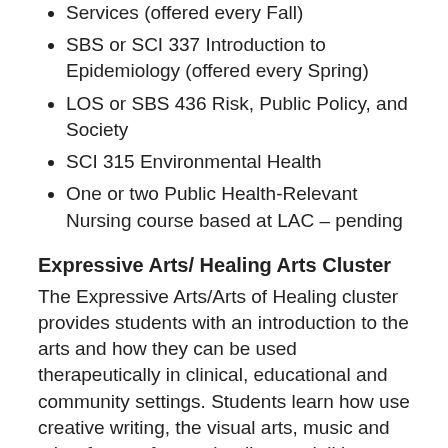Services (offered every Fall)
SBS or SCI 337 Introduction to Epidemiology (offered every Spring)
LOS or SBS 436 Risk, Public Policy, and Society
SCI 315 Environmental Health
One or two Public Health-Relevant Nursing course based at LAC – pending
Expressive Arts/ Healing Arts Cluster
The Expressive Arts/Arts of Healing cluster provides students with an introduction to the arts and how they can be used therapeutically in clinical, educational and community settings. Students learn how use creative writing, the visual arts, music and other forms of art as healing modalities and/or how to incorporate the creative arts into classroom work with children. This cluster can be taken by students interested in pursuing